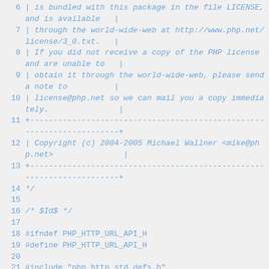Code listing lines 6-22 of a PHP source file showing license comment block and preprocessor directives
6    | is bundled with this package in the file LICENSE, and is available   |
7    | through the world-wide-web at http://www.php.net/license/3_0.txt.   |
8    | If you did not receive a copy of the PHP license and are unable to   |
9    | obtain it through the world-wide-web, please send a note to          |
10   | license@php.net so we can mail you a copy immediately.               |
11   +----------------------------------------------------------------------+
12   | Copyright (c) 2004-2005 Michael Wallner <mike@php.net>               |
13   +----------------------------------------------------------------------+
14 */
15
16 /* $Id$ */
17
18 #ifndef PHP_HTTP_URL_API_H
19 #define PHP_HTTP_URL_API_H
20
21 #include "php_http_std_defs.h"
22